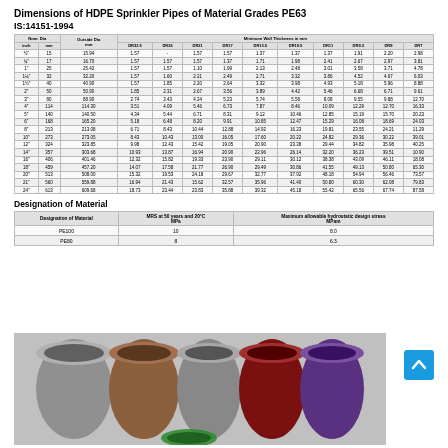Dimensions of HDPE Sprinkler Pipes of Material Grades PE63
IS:14151-1994
| Nom. Dia inch | Nom. Dia mm | Outside Dia mm | DR32.5 | DR26 | DR21 | DR17 | DR13.5 | DR10.5 | DR11 | DR9.3 | DR9 | DR7 |
| --- | --- | --- | --- | --- | --- | --- | --- | --- | --- | --- | --- | --- |
| ½" | 15 | 15.94 | 1.57 | - | 1.57 | 1.57 | 1.37 | 1.37 | 1.37 | 1.91 | 2.20 | 2.98 | 3.09 |
| ¾" | 17 | 16.70 | 1.57 | 1.57 | 1.57 | 1.37 | 1.71 | 1.98 | 2.41 | 2.67 | 2.97 | 3.81 |
| 1" | 25 | 25.42 | 1.57 | 1.57 | 1.10 | 1.99 | 2.13 | 2.48 | 3.01 | 3.58 | 3.71 | 4.78 |
| 1¼" | 32 | 32.20 | 1.57 | 1.60 | 2.21 | 2.49 | 2.71 | 3.32 | 3.86 | 4.52 | 4.67 | 6.03 |
| 1½" | 40 | 40.90 | 1.57 | 1.85 | 2.20 | 2.64 | 3.32 | 3.98 | 4.93 | 5.18 | 5.96 | 8.88 |
| 2" | 50 | 50.90 | 1.85 | 2.31 | 2.67 | 3.56 | 3.89 | 4.42 | 5.46 | 6.68 | 6.71 | 9.61 |
| 3" | 80 | 88.90 | 2.74 | 3.43 | 4.24 | 5.23 | 5.74 | 5.58 | 8.08 | 9.55 | 9.88 | 12.70 |
| 4" | 114 | 114.30 | 3.51 | 4.09 | 5.46 | 6.73 | 7.87 | 8.46 | 10.09 | 12.29 | 12.70 | 16.33 |
| 5" | 140 | 140.50 | 4.34 | 5.44 | 6.71 | 8.31 | 9.12 | 10.46 | 12.85 | 15.19 | 15.70 | 20.23 |
| 6" | 168 | 165.20 | 5.18 | 6.48 | 8.20 | 9.91 | 10.85 | 12.47 | 15.29 | 16.08 | 18.69 | 24.03 |
| 8" | 213 | 213.08 | 6.71 | 8.43 | 10.44 | 12.88 | 14.92 | 16.23 | 19.81 | 23.55 | 24.21 | 11.29 |
| 10" | 273 | 273.05 | 8.43 | 10.43 | 13.00 | 16.05 | 17.60 | 20.22 | 24.82 | 29.36 | 30.22 | 39.01 |
| 12" | 324 | 323.85 | 9.98 | 12.43 | 15.42 | 19.05 | 20.90 | 23.38 | 29.44 | 34.82 | 35.98 | 40.25 |
| 14" | 357 | 303.68 | 10.93 | 13.87 | 16.94 | 20.90 | 22.96 | 26.14 | 32.20 | 36.23 | 39.51 | 10.90 |
| 16" | 406 | 401.46 | 12.32 | 15.82 | 19.33 | 23.90 | 29.11 | 30.12 | 38.38 | 43.09 | 46.11 | 18.08 |
| 18" | 459 | 457.20 | 14.07 | 17.58 | 21.77 | 26.90 | 29.49 | 30.86 | 41.55 | 49.13 | 50.80 | 65.30 |
| 20" | 513 | 508.00 | 15.32 | 19.53 | 24.18 | 29.67 | 32.77 | 37.92 | 48.18 | 54.94 | 56.46 | 73.57 |
| 21" | 560 | 559.88 | 16.94 | 21.43 | 15.62 | 32.57 | 35.96 | 41.40 | 50.80 | 60.30 | 62.08 | 79.83 |
| 24" | 613 | 609.68 | 18.73 | 23.44 | 23.83 | 35.88 | 39.32 | 45.18 | 55.42 | 65.56 | 67.74 | 87.58 |
Designation of Material
| Designation of Material | MRS at 50 years and 20°C MPa | Maximum allowable hydrostatic design stress MPam |
| --- | --- | --- |
| PE100 | 10 | 8.0 |
| PE80 | 8 | 6.3 |
[Figure (photo): Photograph of multiple HDPE pipes of various colors (grey, brown, dark red/maroon, purple, green) standing upright, showing cross-sections]